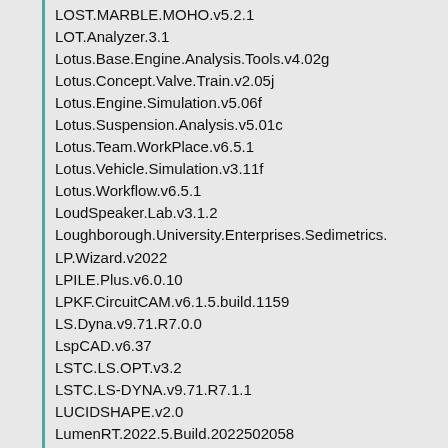LOST.MARBLE.MOHO.v5.2.1
LOT.Analyzer.3.1
Lotus.Base.Engine.Analysis.Tools.v4.02g
Lotus.Concept.Valve.Train.v2.05j
Lotus.Engine.Simulation.v5.06f
Lotus.Suspension.Analysis.v5.01c
Lotus.Team.WorkPlace.v6.5.1
Lotus.Vehicle.Simulation.v3.11f
Lotus.Workflow.v6.5.1
LoudSpeaker.Lab.v3.1.2
Loughborough.University.Enterprises.Sedimetrics.
LP.Wizard.v2022
LPILE.Plus.v6.0.10
LPKF.CircuitCAM.v6.1.5.build.1159
LS.Dyna.v9.71.R7.0.0
LspCAD.v6.37
LSTC.LS.OPT.v3.2
LSTC.LS-DYNA.v9.71.R7.1.1
LUCIDSHAPE.v2.0
LumenRT.2022.5.Build.2022502058
LumenRT.CONNECT.Edition.16.05.02.60
LumenRT.GeoDesign.2022.Build.5003176
Lumenrt.Studio.v2022
Lumerical.DEVICE.2.0.Win
Lumerical.FDTD.Solutions.8.6.0.Win